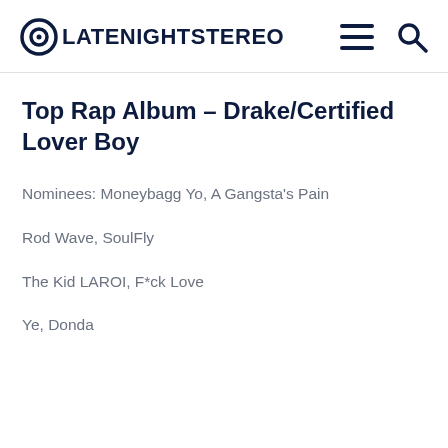LATENIGHTSTEREO
Top Rap Album – Drake/Certified Lover Boy
Nominees: Moneybagg Yo, A Gangsta's Pain
Rod Wave, SoulFly
The Kid LAROI, F*ck Love
Ye, Donda